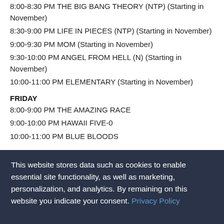8:00-8:30 PM THE BIG BANG THEORY (NTP) (Starting in November)
8:30-9:00 PM LIFE IN PIECES (NTP) (Starting in November)
9:00-9:30 PM MOM (Starting in November)
9:30-10:00 PM ANGEL FROM HELL (N) (Starting in November)
10:00-11:00 PM ELEMENTARY (Starting in November)
FRIDAY
8:00-9:00 PM THE AMAZING RACE
9:00-10:00 PM HAWAII FIVE-0
10:00-11:00 PM BLUE BLOODS
SATURDAY
8:00-9:00 PM CRIMETIME SATURDAY
9:00-10:00 PM CRIMETIME SATURDAY
This website stores data such as cookies to enable essential site functionality, as well as marketing, personalization, and analytics. By remaining on this website you indicate your consent. Privacy Policy